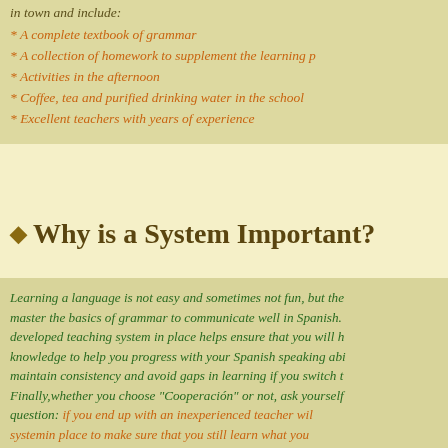in town and include:
* A complete textbook of grammar
* A collection of homework to supplement the learning p
* Activities in the afternoon
* Coffee, tea and purified drinking water in the school
* Excellent teachers with years of experience
Why is a System Important?
Learning a language is not easy and sometimes not fun, but the master the basics of grammar to communicate well in Spanish. developed teaching system in place helps ensure that you will h knowledge to help you progress with your Spanish speaking abi maintain consistency and avoid gaps in learning if you switch t Finally,whether you choose "Cooperación" or not, ask yourself question: if you end up with an inexperienced teacher wil systemin place to make sure that you still learn what you